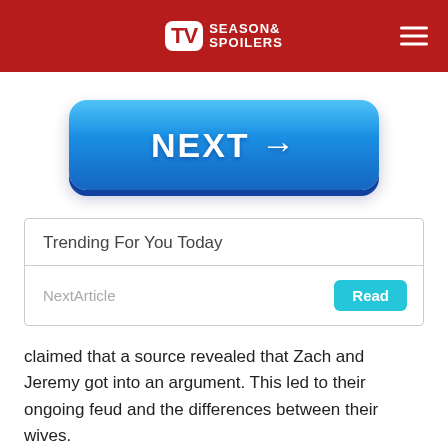TV Season & Spoilers
[Figure (other): Blue NEXT button with right arrow]
| Trending For You Today |  |
| --- | --- |
| NextArticle | Read |
claimed that a source revealed that Zach and Jeremy got into an argument. This led to their ongoing feud and the differences between their wives.
https://www.instagram.com/p/CRp1YtMJNH9/?